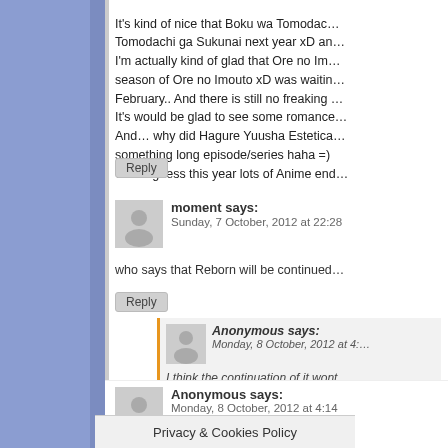It's kind of nice that Boku wa Tomodachi ga Sukunai next year xD and I'm actually kind of glad that Ore no Imo... season of Ore no Imouto xD was waitin... February.. And there is still no freaking ... It's would be glad to see some romance... And… why did Hagure Yuusha Estetica... something long episode/series haha =) Wow i guess this year lots of Anime end...
Reply
moment says:
Sunday, 7 October, 2012 at 22:28
who says that Reborn will be continued...
Reply
Anonymous says:
Monday, 8 October, 2012 at 4:...
I think the continuation of it wont ...
Reply
Anonymous says:
Monday, 8 October, 2012 at 4:14
where is the continuation of the Anime ...
Privacy & Cookies Policy